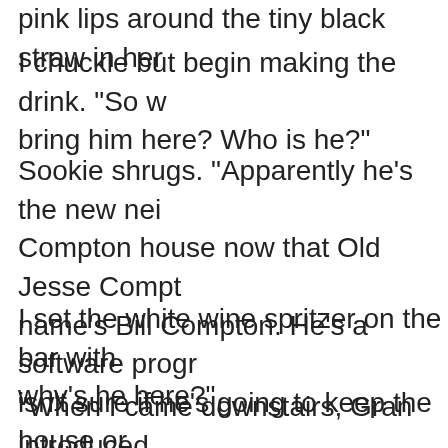pink lips around the tiny black straw in her
I chuckle but begin making the drink. “So what bring him here? Who is he?”
Sookie shrugs. “Apparently he’s the new nei Compton house now that Old Jesse Compt name’s Bill Compton. He’s a software progr isn’t sure if he’s going to keep the house or
I set the white wine spritzer on the bar with why’s he here?”
“When I came downstairs, Gran introduced me mind you, if I would be willing to show h Sookie says in a huff. Her ‘I am woman, hear affronted by this guy’s behavior. “Gran sugg tonight, so he can meet new people. How w refuse?”